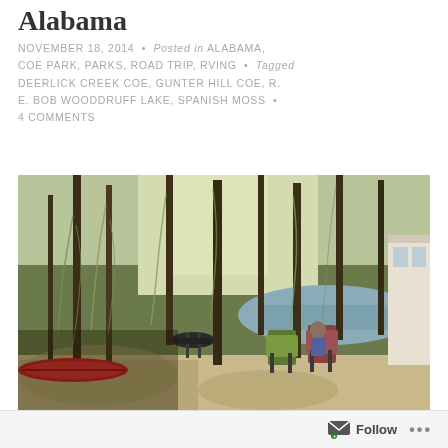Alabama
NOVEMBER 18, 2014 • Posted in ALABAMA, COE PARK, PARKS, ROAD TRIP, RVING • Tagged DEERLICK CREEK COE, GUNTER HILL COE, R. E. BOB WOODDRUFF LAKE, SPANISH MOSS • 4 COMMENTS
[Figure (photo): Outdoor campsite scene near a lake. Red kayak on the left, portable grill, two folding chairs in the middle, tall trees draped with Spanish moss in the background, a calm water body visible through the trees, and part of an RV on the right.]
Follow ...